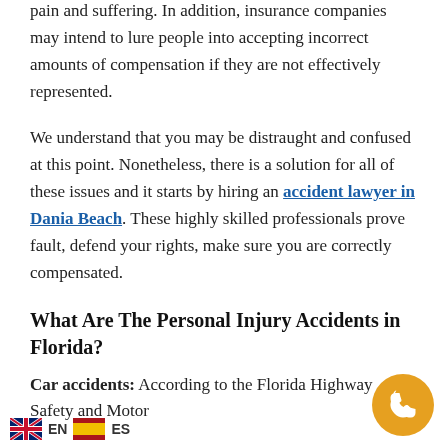pain and suffering. In addition, insurance companies may intend to lure people into accepting incorrect amounts of compensation if they are not effectively represented.
We understand that you may be distraught and confused at this point. Nonetheless, there is a solution for all of these issues and it starts by hiring an accident lawyer in Dania Beach. These highly skilled professionals prove fault, defend your rights, make sure you are correctly compensated.
What Are The Personal Injury Accidents in Florida?
Car accidents: According to the Florida Highway Safety and Motor